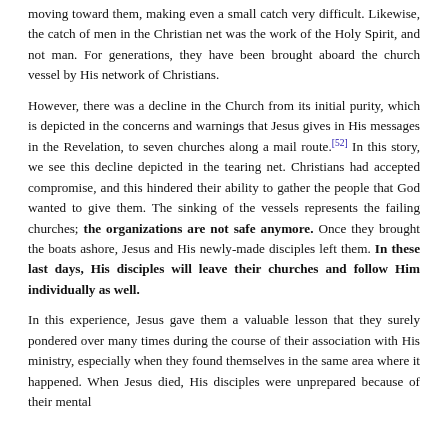moving toward them, making even a small catch very difficult. Likewise, the catch of men in the Christian net was the work of the Holy Spirit, and not man. For generations, they have been brought aboard the church vessel by His network of Christians.
However, there was a decline in the Church from its initial purity, which is depicted in the concerns and warnings that Jesus gives in His messages in the Revelation, to seven churches along a mail route.[52] In this story, we see this decline depicted in the tearing net. Christians had accepted compromise, and this hindered their ability to gather the people that God wanted to give them. The sinking of the vessels represents the failing churches; the organizations are not safe anymore. Once they brought the boats ashore, Jesus and His newly-made disciples left them. In these last days, His disciples will leave their churches and follow Him individually as well.
In this experience, Jesus gave them a valuable lesson that they surely pondered over many times during the course of their association with His ministry, especially when they found themselves in the same area where it happened. When Jesus died, His disciples were unprepared because of their mental